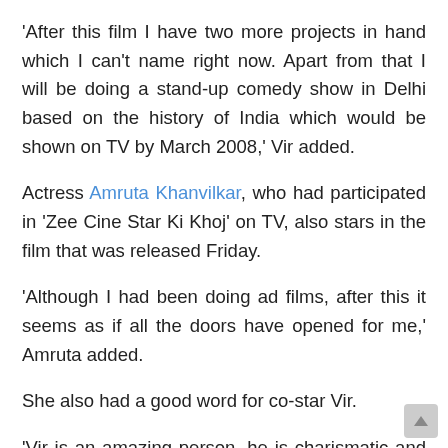'After this film I have two more projects in hand which I can't name right now. Apart from that I will be doing a stand-up comedy show in Delhi based on the history of India which would be shown on TV by March 2008,' Vir added.
Actress Amruta Khanvilkar, who had participated in 'Zee Cine Star Ki Khoj' on TV, also stars in the film that was released Friday.
'Although I had been doing ad films, after this it seems as if all the doors have opened for me,' Amruta added.
She also had a good word for co-star Vir.
'Vir is an amazing person, he is charismatic and a